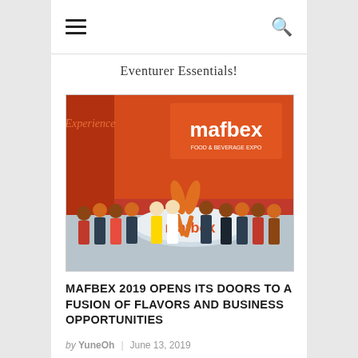≡   Q
Eventurer Essentials!
[Figure (photo): Group photo of people standing in front of a mafbex branded booth/display with orange decorative spoons and a mafbex logo bowl at the front, at an exhibition or trade show]
MAFBEX 2019 OPENS ITS DOORS TO A FUSION OF FLAVORS AND BUSINESS OPPORTUNITIES
by YuneOh | June 13, 2019